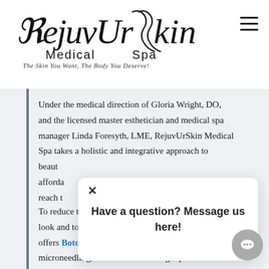[Figure (logo): RejuvUrSkin Medical Spa logo with decorative cursive script and tagline 'The Skin You Want, The Body You Deserve!']
Under the medical direction of Gloria Wright, DO, and the licensed master esthetician and medical spa manager Linda Foresyth, LME, RejuvUrSkin Medical Spa takes a holistic and integrative approach to beauty [obscured by popup] affordable [obscured] reach t[obscured]
[Figure (screenshot): Chat popup overlay with X close button and text: 'Have a question? Message us here!']
To reduce the visible signs of aging and improve the look and tone of facial skin, RejuvUrSkin Medical Spa offers Botox® and fillers, laser treatment, microneedling, and facials. Dr. Wright performs all